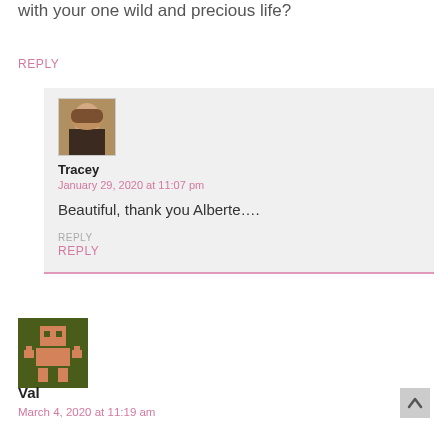with your one wild and precious life?
REPLY
[Figure (photo): Avatar photo of Tracey — woman with light brown hair]
Tracey
January 29, 2020 at 11:07 pm
Beautiful, thank you Alberte....
REPLY
[Figure (illustration): Pixel-art avatar icon on dark olive/green background with salmon/orange pixel robot figure]
Val
March 4, 2020 at 11:19 am